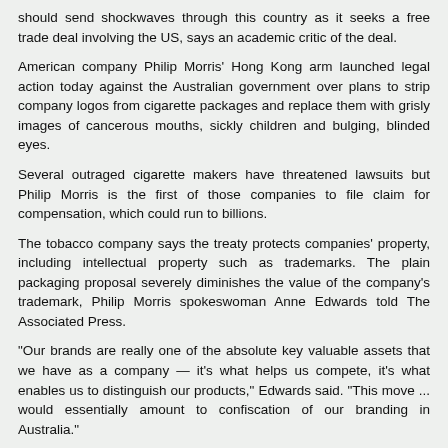should send shockwaves through this country as it seeks a free trade deal involving the US, says an academic critic of the deal.
American company Philip Morris' Hong Kong arm launched legal action today against the Australian government over plans to strip company logos from cigarette packages and replace them with grisly images of cancerous mouths, sickly children and bulging, blinded eyes.
Several outraged cigarette makers have threatened lawsuits but Philip Morris is the first of those companies to file claim for compensation, which could run to billions.
The tobacco company says the treaty protects companies' property, including intellectual property such as trademarks. The plain packaging proposal severely diminishes the value of the company's trademark, Philip Morris spokeswoman Anne Edwards told The Associated Press.
"Our brands are really one of the absolute key valuable assets that we have as a company — it's what helps us compete, it's what enables us to distinguish our products," Edwards said. "This move ... would essentially amount to confiscation of our branding in Australia."